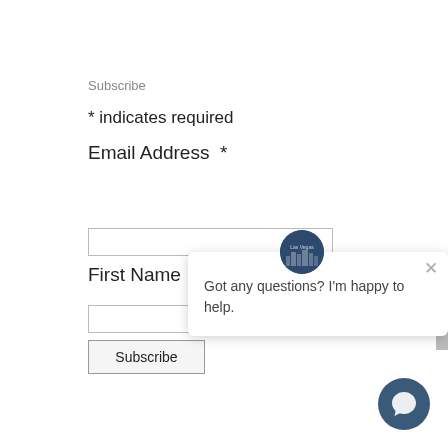Subscribe
* indicates required
Email Address  *
First Name
[Figure (screenshot): Chat popup with avatar showing 'Got any questions? I'm happy to help.' and a close button, plus a circular chat icon at bottom right]
Subscribe